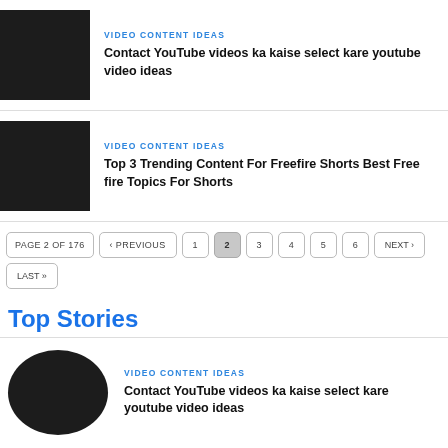[Figure (photo): Dark thumbnail image for first article]
VIDEO CONTENT IDEAS
Contact YouTube videos ka kaise select kare youtube video ideas
[Figure (photo): Dark thumbnail image for second article]
VIDEO CONTENT IDEAS
Top 3 Trending Content For Freefire Shorts Best Free fire Topics For Shorts
PAGE 2 OF 176 ‹ PREVIOUS 1 2 3 4 5 6 NEXT › LAST »
Top Stories
VIDEO CONTENT IDEAS
Contact YouTube videos ka kaise select kare youtube video ideas